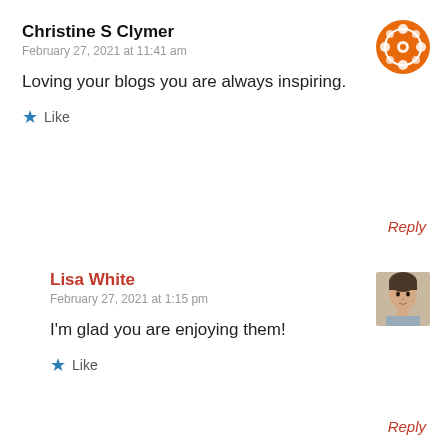Christine S Clymer
February 27, 2021 at 11:41 am
[Figure (illustration): Orange decorative avatar icon with floral/geometric pattern]
Loving your blogs you are always inspiring.
★ Like
Reply
Lisa White
February 27, 2021 at 1:15 pm
[Figure (photo): Small photo of a young child with dark hair]
I'm glad you are enjoying them!
★ Like
Reply